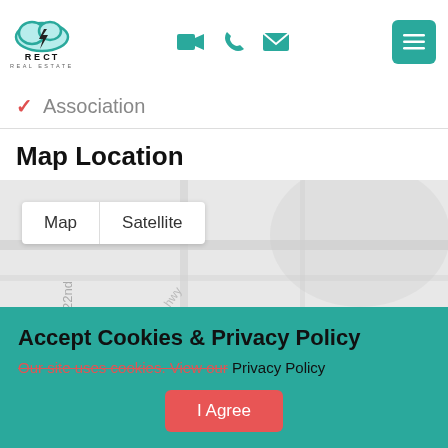[Figure (logo): React Real Estate logo with cloud icon and lightning bolt, teal/blue cloud above text REACT REAL ESTATE]
[Figure (screenshot): Navigation header icons: video camera, phone, envelope in teal; green hamburger menu button]
✓ Association
Map Location
[Figure (map): Google Maps embed with Map/Satellite toggle buttons, street map background with roads]
Accept Cookies & Privacy Policy
Our site uses cookies. View our Privacy Policy
I Agree